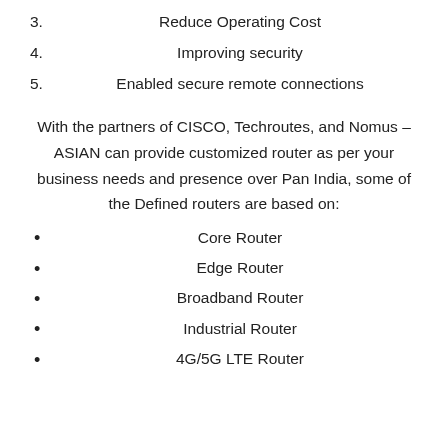3. Reduce Operating Cost
4. Improving security
5. Enabled secure remote connections
With the partners of CISCO, Techroutes, and Nomus – ASIAN can provide customized router as per your business needs and presence over Pan India, some of the Defined routers are based on:
Core Router
Edge Router
Broadband Router
Industrial Router
4G/5G LTE Router